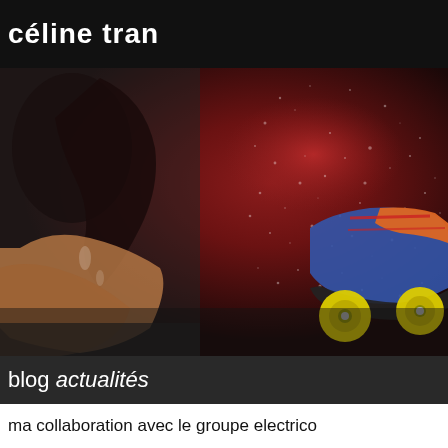céline tran
actualités   bio
[Figure (photo): Hero banner image showing a woman with dark wet hair on the left side, and colorful roller skate with yellow wheels on the right side, against a dark red textured background]
blog actualités
ma collaboration avec le groupe electrico